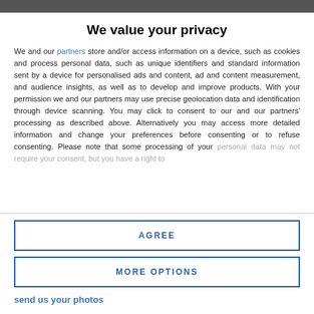We value your privacy
We and our partners store and/or access information on a device, such as cookies and process personal data, such as unique identifiers and standard information sent by a device for personalised ads and content, ad and content measurement, and audience insights, as well as to develop and improve products. With your permission we and our partners may use precise geolocation data and identification through device scanning. You may click to consent to our and our partners' processing as described above. Alternatively you may access more detailed information and change your preferences before consenting or to refuse consenting. Please note that some processing of your personal data may not require your consent, but you have a right to
AGREE
MORE OPTIONS
send us your photos